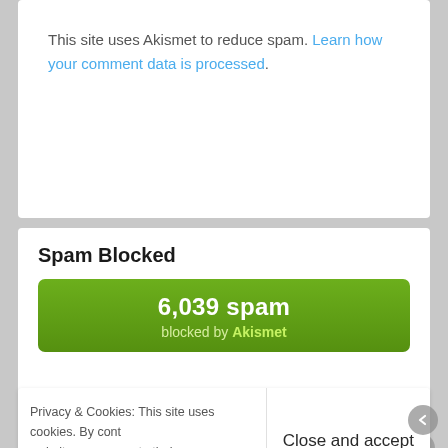This site uses Akismet to reduce spam. Learn how your comment data is processed.
Spam Blocked
[Figure (infographic): Green button/banner showing '6,039 spam blocked by Akismet']
Privacy & Cookies: This site uses cookies. By cont... website, you agree to their use. To find out more, including how to control cookie...
Close and accept